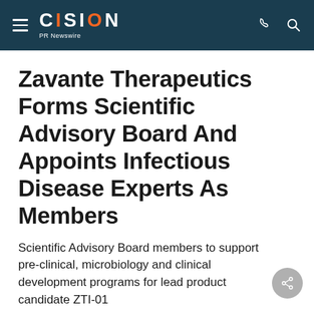CISION PR Newswire
Zavante Therapeutics Forms Scientific Advisory Board And Appoints Infectious Disease Experts As Members
Scientific Advisory Board members to support pre-clinical, microbiology and clinical development programs for lead product candidate ZTI-01